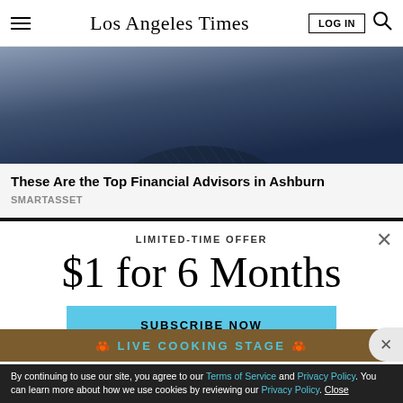Los Angeles Times
[Figure (photo): Partial photo of a person wearing a dark navy pinstripe suit, cropped from the torso up against a grey background.]
These Are the Top Financial Advisors in Ashburn
SMARTASSET
LIMITED-TIME OFFER
$1 for 6 Months
SUBSCRIBE NOW
By continuing to use our site, you agree to our Terms of Service and Privacy Policy. You can learn more about how we use cookies by reviewing our Privacy Policy. Close